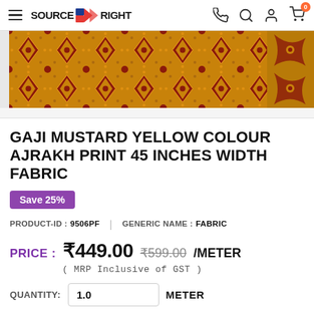SOURCE N RIGHT — navigation bar with hamburger menu, logo, phone, search, account, and cart icons
[Figure (photo): Mustard yellow Ajrakh print fabric shown as a wide horizontal strip, with geometric and floral block print patterns in dark red/maroon on a golden yellow background. A partial panel of another printed fabric is visible on the right edge.]
GAJI MUSTARD YELLOW COLOUR AJRAKH PRINT 45 INCHES WIDTH FABRIC
Save 25%
PRODUCT-ID : 9506PF  |  GENERIC NAME : FABRIC
PRICE :  ₹449.00  ₹599.00  /METER
( MRP Inclusive of GST )
Quantity:  1.0  METER